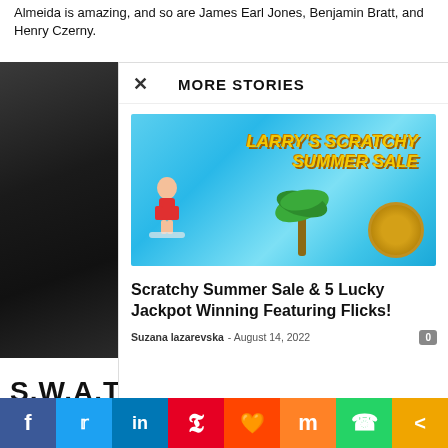Almeida is amazing, and so are James Earl Jones, Benjamin Bratt, and Henry Czerny.
[Figure (photo): Dark photograph of a person, partially visible, used as a TV show image for S.W.A.T.]
S.W.A.T.
MORE STORIES
[Figure (illustration): Larry's Scratchy Summer Sale promotional banner with cartoon characters surfing and palm trees on a blue water background.]
Scratchy Summer Sale & 5 Lucky Jackpot Winning Featuring Flicks!
Suzana lazarevska - August 14, 2022
[Figure (infographic): Social media sharing bar with icons for Facebook, Twitter, LinkedIn, Pinterest, Reddit, Mix, WhatsApp, and Share.]